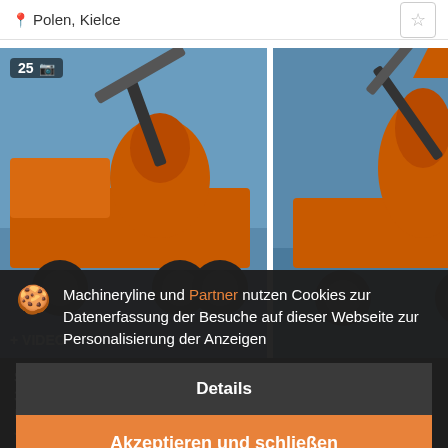Polen, Kielce
[Figure (screenshot): Three thumbnail photos of an orange Scania concrete mixer/pump truck. First image shows photo count badge '25' with camera icon and '+ VIDEO' label. Second image shows a side view. Third image is partially cropped on the right.]
SCANIA P420
39.170 €
Betonfahrzeuge
Jahr: 2005
Machineryline und Partner nutzen Cookies zur Datenerfassung der Besuche auf dieser Webseite zur Personalisierung der Anzeigen
Details
Akzeptieren und schließen